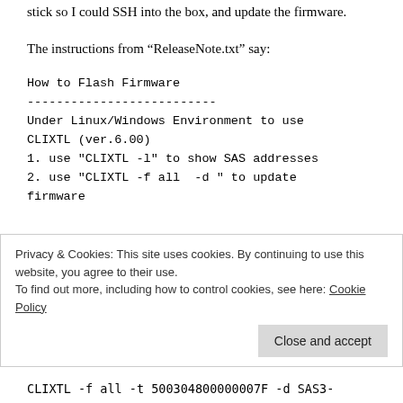stick so I could SSH into the box, and update the firmware.
The instructions from “ReleaseNote.txt” say:
How to Flash Firmware
--------------------------
Under Linux/Windows Environment to use CLIXTL (ver.6.00)
1. use "CLIXTL -l" to show SAS addresses
2. use "CLIXTL -f all  -d " to update firmware
Privacy & Cookies: This site uses cookies. By continuing to use this website, you agree to their use.
To find out more, including how to control cookies, see here: Cookie Policy
CLIXTL -f all -t 500304800000007F -d SAS3-